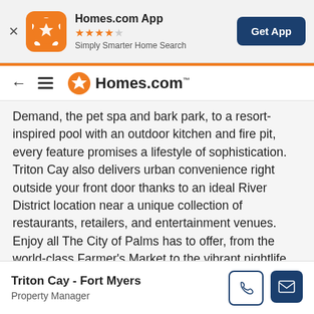[Figure (screenshot): Homes.com app banner with orange app icon showing a star/pinwheel logo, 4.5 star rating, subtitle 'Simply Smarter Home Search', and a dark blue 'Get App' button on the right.]
[Figure (logo): Homes.com navigation bar with back arrow, hamburger menu, and Homes.com logo (orange pinwheel icon + text).]
Demand, the pet spa and bark park, to a resort-inspired pool with an outdoor kitchen and fire pit, every feature promises a lifestyle of sophistication. Triton Cay also delivers urban convenience right outside your front door thanks to an ideal River District location near a unique collection of restaurants, retailers, and entertainment venues. Enjoy all The City of Palms has to offer, from the world-class Farmer's Market to the vibrant nightlife, all within walking distance!Choose from a variety of one-, two- and three-bedroom floor plans at Triton Cay! Every apartment home includes a private fenced-in yard or a
Triton Cay - Fort Myers
Property Manager